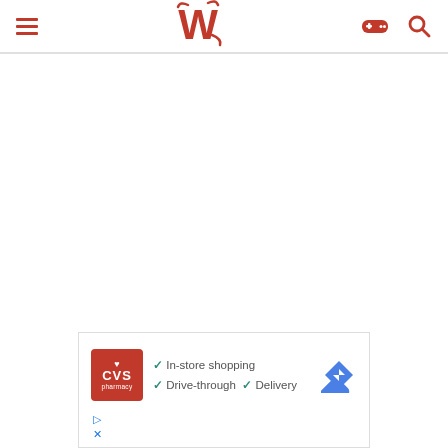W (logo with hamburger menu, game controller icon, search icon)
[Figure (screenshot): CVS Pharmacy advertisement banner showing checkmarks for In-store shopping, Drive-through, and Delivery services with a navigation/map icon]